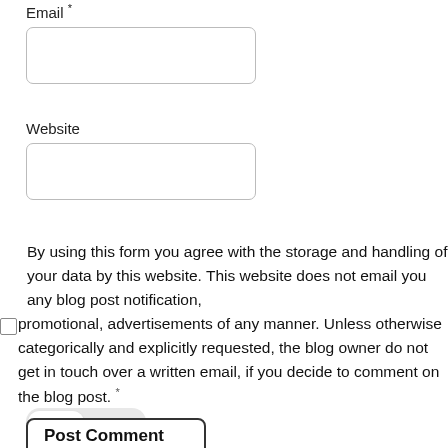Email *
Website
By using this form you agree with the storage and handling of your data by this website. This website does not email you any blog post notification, promotional, advertisements of any manner. Unless otherwise categorically and explicitly requested, the blog owner do not get in touch over a written email, if you decide to comment on the blog post. *
Light  Dark
Post Comment